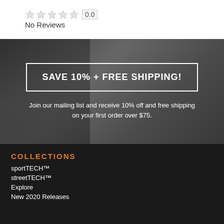No Reviews
[Figure (infographic): Promotional banner with dark background showing a person outdoors, with a white-bordered box containing text 'SAVE 10% + FREE SHIPPING!' and subtitle text below]
SAVE 10% + FREE SHIPPING!
Join our mailing list and receive 10% off and free shipping on your first order over $75.
COLLECTIONS
sportTECH™
streetTECH™
Explore
New 2020 Releases